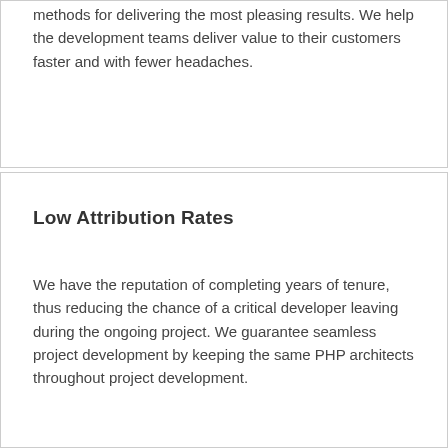methods for delivering the most pleasing results. We help the development teams deliver value to their customers faster and with fewer headaches.
Low Attribution Rates
We have the reputation of completing years of tenure, thus reducing the chance of a critical developer leaving during the ongoing project. We guarantee seamless project development by keeping the same PHP architects throughout project development.